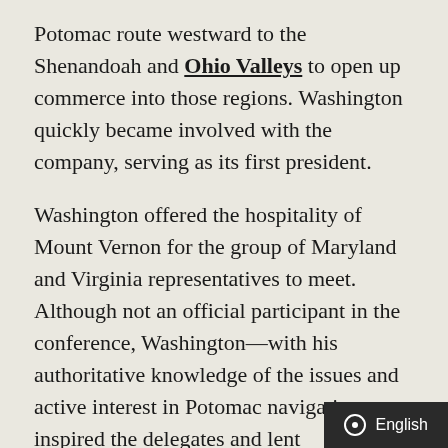Potomac route westward to the Shenandoah and Ohio Valleys to open up commerce into those regions. Washington quickly became involved with the company, serving as its first president.
Washington offered the hospitality of Mount Vernon for the group of Maryland and Virginia representatives to meet. Although not an official participant in the conference, Washington—with his authoritative knowledge of the issues and active interest in Potomac navigation—inspired the delegates and lent considerable prestige to the proceedings. On March 28, 1785, the group drew up a thirteen-point agreement governing navigational rights on the Potomac and Pocomoke Rivers and the Chesapeake Bay. The Mount Vernon